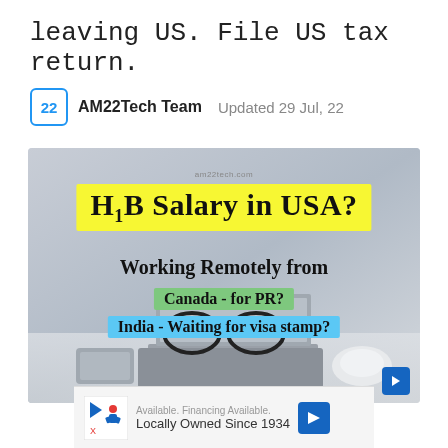leaving US. File US tax return.
AM22Tech Team  Updated 29 Jul, 22
[Figure (photo): Promotional image for AM22Tech showing H1B Salary in USA topic with text overlays: 'H1B Salary in USA?', 'Working Remotely from', 'Canada - for PR?', 'India - Waiting for visa stamp?' with a laptop and glasses photo in background.]
Available. Financing Available. Locally Owned Since 1934